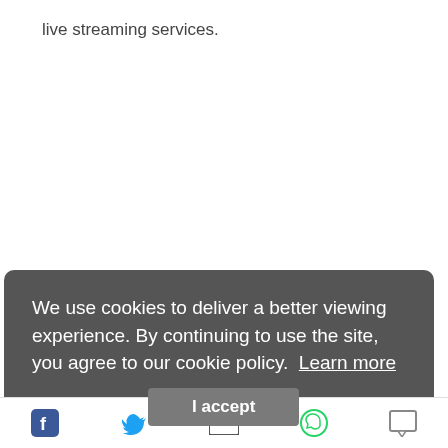live streaming services.
We use cookies to deliver a better viewing experience. By continuing to use the site, you agree to our cookie policy. Learn more
I accept
The company recently completed installation of the fast, consistent and